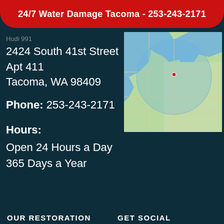24/7 Water Damage Tacoma - 253-243-2171
2424 South 41st Street
Apt 411
Tacoma, WA 98409
Phone: 253-243-2171
Hours:
Open 24 Hours a Day
365 Days a Year
[Figure (map): Google Maps style map showing the Tacoma, WA service area with a circular blue overlay indicating the service radius.]
OUR RESTORATION
GET SOCIAL